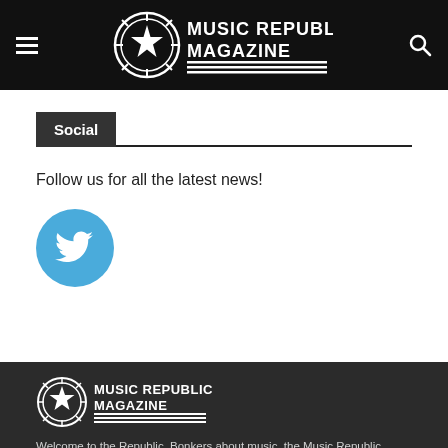Music Republic Magazine
Social
Follow us for all the latest news!
[Figure (logo): Twitter bird icon button, circular blue background]
[Figure (logo): Music Republic Magazine footer logo, white on dark background]
Welcome to the Republic. Bonkers about music, the Music Republic Magazine team has decades of collective experience in journalism, photography, print